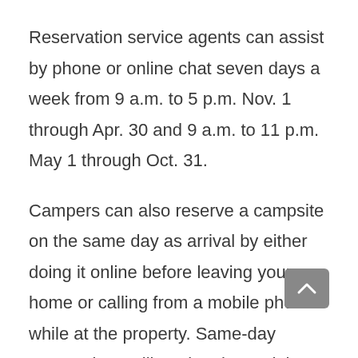Reservation service agents can assist by phone or online chat seven days a week from 9 a.m. to 5 p.m. Nov. 1 through Apr. 30 and 9 a.m. to 11 p.m. May 1 through Oct. 31.
Campers can also reserve a campsite on the same day as arrival by either doing it online before leaving your home or calling from a mobile phone while at the property. Same-day reservations will not be charged the additional $7.95 reservation fee.
Visitors will no longer need to use campsite self-